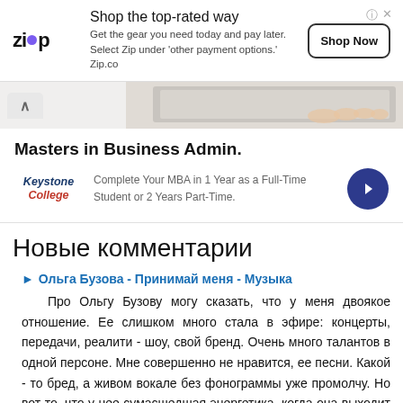[Figure (screenshot): Zip payment service advertisement banner with logo, tagline 'Shop the top-rated way', description text, and 'Shop Now' button]
[Figure (photo): Partially visible laptop on desk background image strip]
[Figure (screenshot): Keystone College MBA advertisement card with logo and arrow button]
Новые комментарии
Ольга Бузова - Принимай меня - Музыка
Про Ольгу Бузову могу сказать, что у меня двоякое отношение. Ее слишком много стала в эфире: концерты, передачи, реалити - шоу, свой бренд. Очень много талантов в одной персоне. Мне совершенно не нравится, ее песни. Какой - то бред, а живом вокале без фонограммы уже промолчу. Но вот то, что у нее сумасшедшая энергетика, когда она выходит на сце... (2018-10-